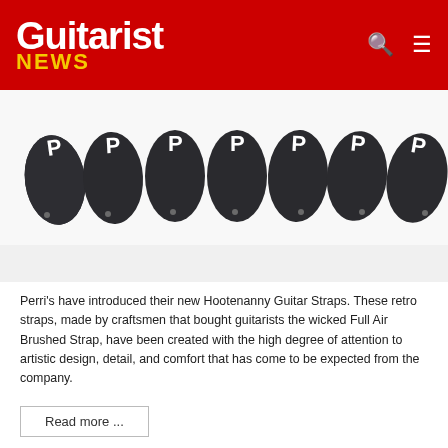Guitarist NEWS
[Figure (photo): Multiple dark grey guitar picks with the letter P logo arranged in a row against a white background]
Perri's have introduced their new Hootenanny Guitar Straps. These retro straps, made by craftsmen that bought guitarists the wicked Full Air Brushed Strap, have been created with the high degree of attention to artistic design, detail, and comfort that has come to be expected from the company.
Read more ...
Rocktron MicroHUSH - Noise Reduction Mini Pedal
09 June 2016